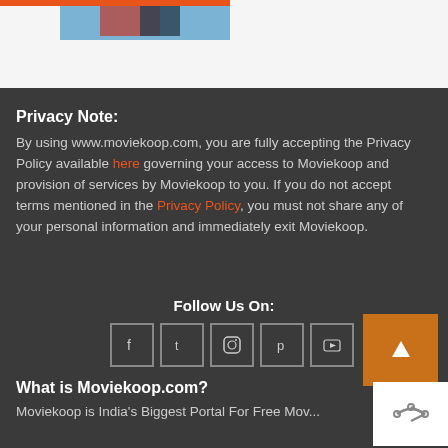[Figure (screenshot): Top banner area with orange bar and partial movie image on light gray background]
Privacy Note:
By using www.moviekoop.com, you are fully accepting the Privacy Policy available here governing your access to Moviekoop and provision of services by Moviekoop to you. If you do not accept terms mentioned in the Privacy Policy, you must not share any of your personal information and immediately exit Moviekoop.
Follow Us On:
[Figure (illustration): Five social media icon buttons: Facebook, Twitter, Instagram, Pinterest, YouTube in square bordered boxes. Orange back-to-top button with up arrow on right.]
What is Moviekoop.com?
Moviekoop is India's Biggest Portal For Free Mov...